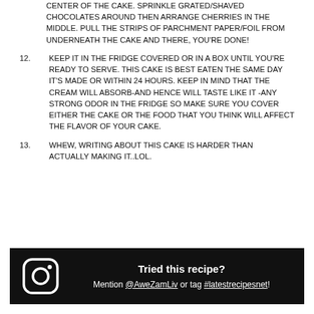CENTER OF THE CAKE. SPRINKLE GRATED/SHAVED CHOCOLATES AROUND THEN ARRANGE CHERRIES IN THE MIDDLE. PULL THE STRIPS OF PARCHMENT PAPER/FOIL FROM UNDERNEATH THE CAKE AND THERE, YOU'RE DONE!
12. KEEP IT IN THE FRIDGE COVERED OR IN A BOX UNTIL YOU'RE READY TO SERVE. THIS CAKE IS BEST EATEN THE SAME DAY IT'S MADE OR WITHIN 24 HOURS. KEEP IN MIND THAT THE CREAM WILL ABSORB-AND HENCE WILL TASTE LIKE IT -ANY STRONG ODOR IN THE FRIDGE SO MAKE SURE YOU COVER EITHER THE CAKE OR THE FOOD THAT YOU THINK WILL AFFECT THE FLAVOR OF YOUR CAKE.
13. WHEW, WRITING ABOUT THIS CAKE IS HARDER THAN ACTUALLY MAKING IT..LOL.
Tried this recipe? Mention @AweZamLiv or tag #latestrecipesnet!